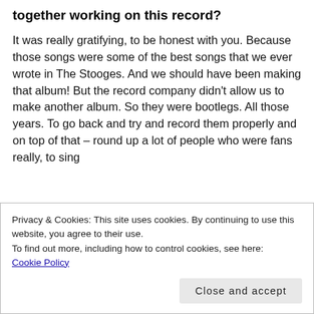together working on this record?
It was really gratifying, to be honest with you. Because those songs were some of the best songs that we ever wrote in The Stooges. And we should have been making that album! But the record company didn't allow us to make another album. So they were bootlegs. All those years. To go back and try and record them properly and on top of that – round up a lot of people who were fans really, to sing
Privacy & Cookies: This site uses cookies. By continuing to use this website, you agree to their use.
To find out more, including how to control cookies, see here:
Cookie Policy
Close and accept